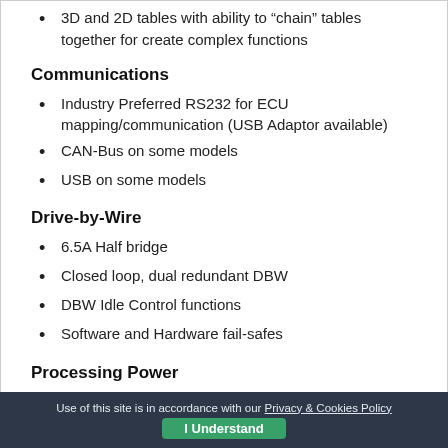3D and 2D tables with ability to “chain” tables together for create complex functions
Communications
Industry Preferred RS232 for ECU mapping/communication (USB Adaptor available)
CAN-Bus on some models
USB on some models
Drive-by-Wire
6.5A Half bridge
Closed loop, dual redundant DBW
DBW Idle Control functions
Software and Hardware fail-safes
Processing Power
Use of this site is in accordance with our Privacy & Cookies Policy  I Understand